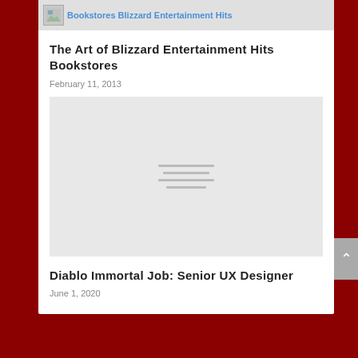[Figure (screenshot): Top banner showing broken image icon and blue hyperlink text reading 'Bookstores Blizzard Entertainment Hits']
The Art of Blizzard Entertainment Hits Bookstores
February 11, 2013
[Figure (photo): Gray placeholder image with four horizontal lines in the center representing a broken/loading image]
Diablo Immortal Job: Senior UX Designer
June 1, 2020